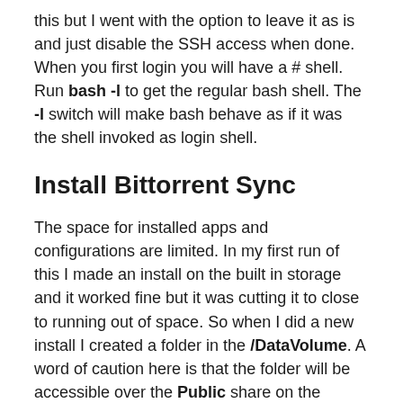this but I went with the option to leave it as is and just disable the SSH access when done. When you first login you will have a # shell. Run bash -l to get the regular bash shell. The -l switch will make bash behave as if it was the shell invoked as login shell.
Install Bittorrent Sync
The space for installed apps and configurations are limited. In my first run of this I made an install on the built in storage and it worked fine but it was cutting it to close to running out of space. So when I did a new install I created a folder in the /DataVolume. A word of caution here is that the folder will be accessible over the Public share on the MyPassport Wireless and you have to be careful not to remove it or change any files. So we create a folder and